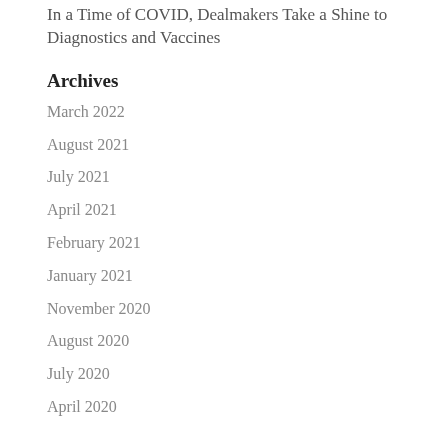In a Time of COVID, Dealmakers Take a Shine to Diagnostics and Vaccines
Archives
March 2022
August 2021
July 2021
April 2021
February 2021
January 2021
November 2020
August 2020
July 2020
April 2020